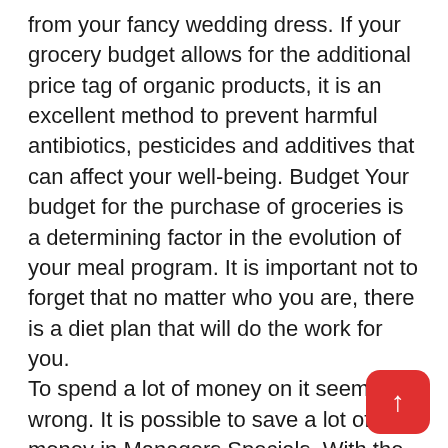from your fancy wedding dress. If your grocery budget allows for the additional price tag of organic products, it is an excellent method to prevent harmful antibiotics, pesticides and additives that can affect your well-being. Budget Your budget for the purchase of groceries is a determining factor in the evolution of your meal program. It is important not to forget that no matter who you are, there is a diet plan that will do the work for you. To spend a lot of money on it seems wrong. It is possible to save a lot of money in Managers Specials. With the increase in the prices of groceries, it is increasingly important to discover strategies to save money on food. If you are looking for a way to earn extra money, personal purchases can be an excellent option for you. The money you can save by buying in a couple of different grocery stores is more than you understand.